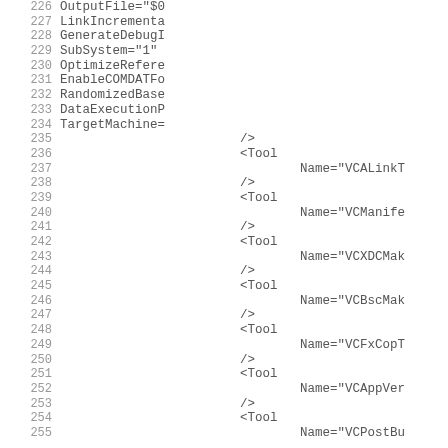Code listing lines 226-255 showing XML tool configuration attributes including OutputFile, LinkIncremental, GenerateDebugInfo, SubSystem, OptimizeReferences, EnableCOMDATFolding, RandomizedBaseAddress, DataExecutionPrevention, TargetMachine, and multiple Tool elements with names VCALinkTool, VCManifestTool, VCXDCMakeTool, VCBscMakeTool, VCFxCopTool, VCAppVerifierTool, VCPostBuildEventTool